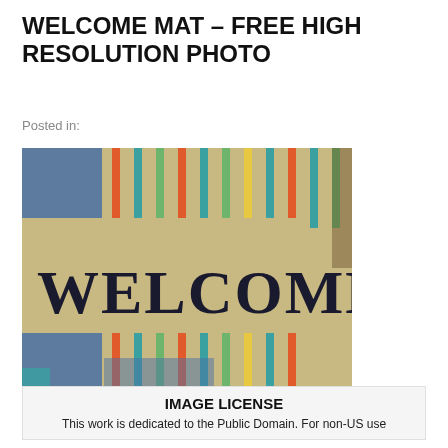WELCOME MAT – FREE HIGH RESOLUTION PHOTO
Posted in:
[Figure (photo): Close-up photograph of a colorful striped welcome mat with the word WELCOME written in bold dark letters on a textured beige/tan coir surface. The mat has multicolored stripes in blue, red, teal, green, and yellow.]
Welcome Mat – Free High Resolution Photo
IMAGE LICENSE
This work is dedicated to the Public Domain. For non-US use